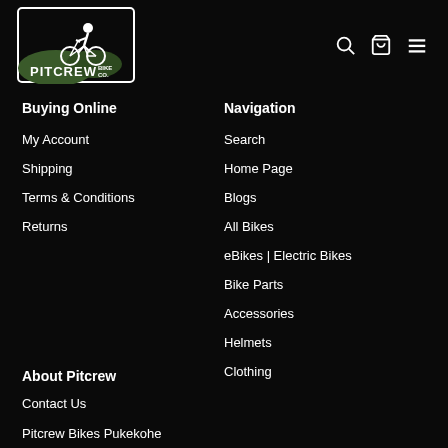[Figure (logo): Pitcrew Bike Co. logo with a mountain biker silhouette and green hills inside a rectangular border]
Buying Online
My Account
Shipping
Terms & Conditions
Returns
Navigation
Search
Home Page
Blogs
All Bikes
eBikes | Electric Bikes
Bike Parts
Accessories
Helmets
Clothing
About Pitcrew
Contact Us
Pitcrew Bikes Pukekohe